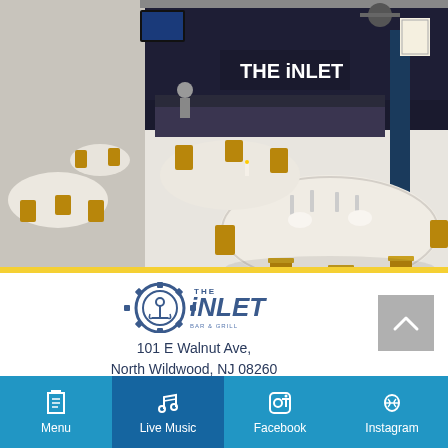[Figure (photo): Interior of The Inlet bar/restaurant set up for an event, with round tables covered in white tablecloths, gold chiavari chairs, and a dark bar area with signage in the background.]
[Figure (logo): The Inlet logo — gear/cog icon with anchor, text reading THE INLET BAR & GRILL]
101 E Walnut Ave,
North Wildwood, NJ 08260
609-600-2799
Menu
Live Music
Facebook
Instagram